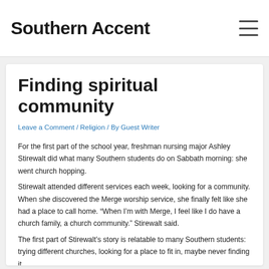Southern Accent
Finding spiritual community
Leave a Comment / Religion / By Guest Writer
For the first part of the school year, freshman nursing major Ashley Stirewalt did what many Southern students do on Sabbath morning: she went church hopping.
Stirewalt attended different services each week, looking for a community. When she discovered the Merge worship service, she finally felt like she had a place to call home. “When I’m with Merge, I feel like I do have a church family, a church community.” Stirewalt said.
The first part of Stirewalt’s story is relatable to many Southern students: trying different churches, looking for a place to fit in, maybe never finding it.